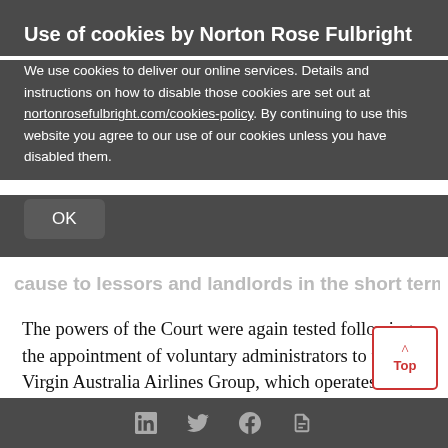Use of cookies by Norton Rose Fulbright
We use cookies to deliver our online services. Details and instructions on how to disable those cookies are set out at nortonrosefulbright.com/cookies-policy. By continuing to use this website you agree to our use of our cookies unless you have disabled them.
OK
cause to lessors and landlords in the short term.
The powers of the Court were again tested following the appointment of voluntary administrators to the Virgin Australia Airlines Group, which operates a passenger and cargo airline business domestically and internationally.
The administrators were granted a four-week
in  f  print